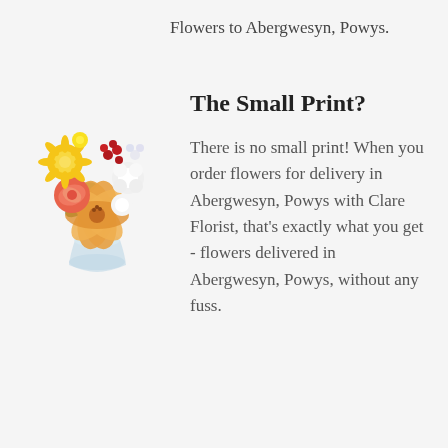Flowers to Abergwesyn, Powys.
[Figure (photo): A colourful flower bouquet arranged in a glass vase, featuring orange lilies, yellow chrysanthemums, white pompoms, a coral-pink rose, red berries, and green foliage.]
The Small Print?
There is no small print! When you order flowers for delivery in Abergwesyn, Powys with Clare Florist, that's exactly what you get - flowers delivered in Abergwesyn, Powys, without any fuss.